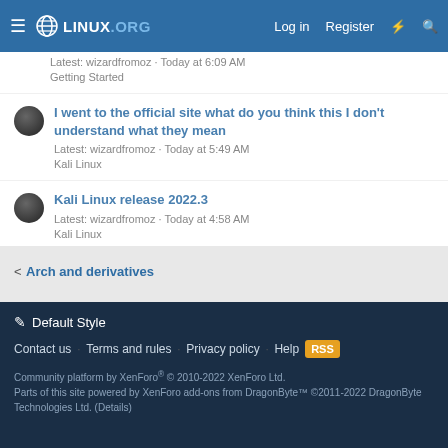LINUX.ORG  Log in  Register
Latest: wizardfromoz · Today at 6:09 AM
Getting Started
I went to the official site what do you think this I don't understand what they mean
Latest: wizardfromoz · Today at 5:49 AM
Kali Linux
Kali Linux release 2022.3
Latest: wizardfromoz · Today at 4:58 AM
Kali Linux
< Arch and derivatives
✏ Default Style
Contact us  Terms and rules  Privacy policy  Help
Community platform by XenForo® © 2010-2022 XenForo Ltd.
Parts of this site powered by XenForo add-ons from DragonByte™ ©2011-2022 DragonByte Technologies Ltd. (Details)